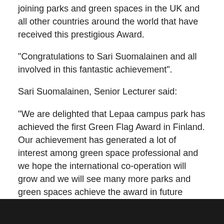joining parks and green spaces in the UK and all other countries around the world that have received this prestigious Award.
"Congratulations to Sari Suomalainen and all involved in this fantastic achievement".
Sari Suomalainen, Senior Lecturer said:
"We are delighted that Lepaa campus park has achieved the first Green Flag Award in Finland. Our achievement has generated a lot of interest among green space professional and we hope the international co-operation will grow and we will see many more parks and green spaces achieve the award in future years"